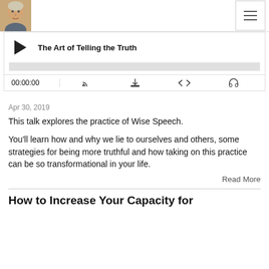[Figure (screenshot): Podcast audio player showing title 'The Art of Telling the Truth', play button, progress bar, timer 00:00:00, and control icons]
Apr 30, 2019
This talk explores the practice of Wise Speech.
You'll learn how and why we lie to ourselves and others, some strategies for being more truthful and how taking on this practice can be so transformational in your life.
Read More
How to Increase Your Capacity for